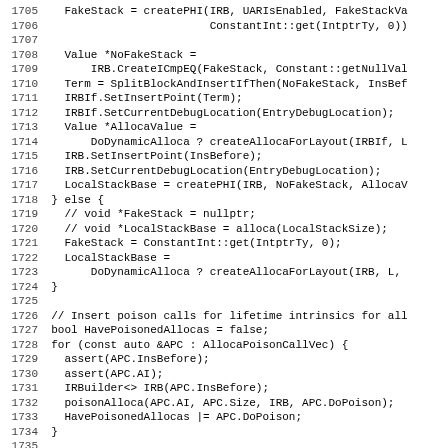[Figure (screenshot): Source code listing showing C++ code lines 1705-1736 related to FakeStack, LocalStackBase, PHI nodes, alloca poison calls, and related LLVM IR builder operations.]